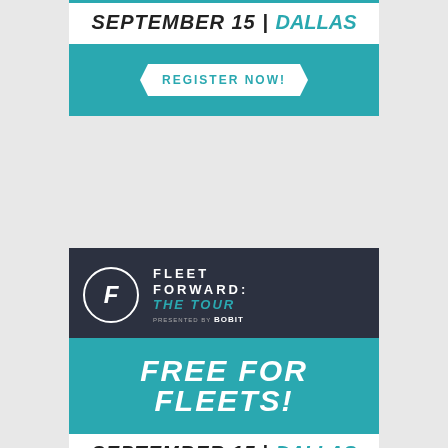[Figure (infographic): Top ad banner (partial): September 15 | Dallas event date bar, and teal Register Now button]
[Figure (infographic): Bottom ad banner: Fleet Forward: The Tour logo on dark background, Free for Fleets teal bar, September 15 | Dallas date bar, teal Register Now button]